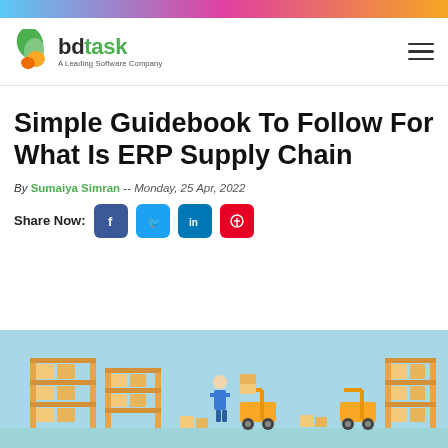bdtask — A Leading Software Company
Simple Guidebook To Follow For What Is ERP Supply Chain
By Sumaiya Simran -- Monday, 25 Apr, 2022
Share Now:
[Figure (illustration): Warehouse/supply chain illustration with shelving units, forklifts, and boxes on a light blue background]